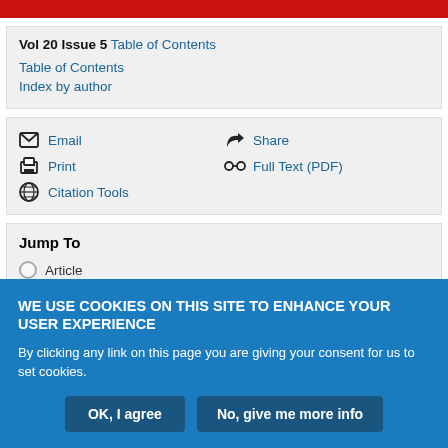Vol 20 Issue 5 Table of Contents
Table of Contents
Index by author
Email
Share
Print
Full Text (PDF)
Citation Tools
Jump To
Article
WE USE COOKIES ON THIS SITE TO ENHANCE YOUR USER EXPERIENCE
By clicking any link on this page you are giving your consent for us to set cookies.
OK, I agree
No, give me more info